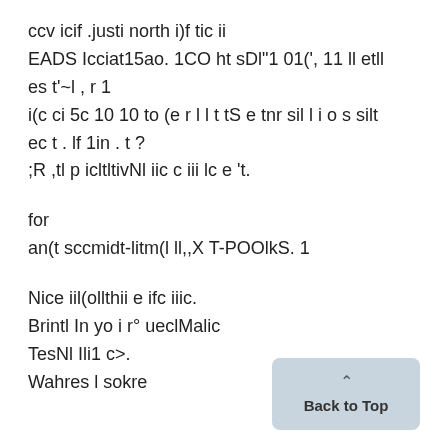ccv icif .justi north i)f tic ii
EADS Icciat15ao. 1CO ht sDl"1 01(', 11 ll etll es t'~l , r 1
i(c ci 5c 10 10 to (e r l l t tS e tnr sil l i o s silt ec t . lf 1in . t ?
;R ,tl p icltltivNl iic c iii lc e 't.
for
an(t sccmidt-litm(l ll,,X T-POOlkS. 1
Nice iil(ollthii e ifc iiic.
Brintl In yo i r° ueclMalic
TesNl Ili1 c>.
Wahres l sokre